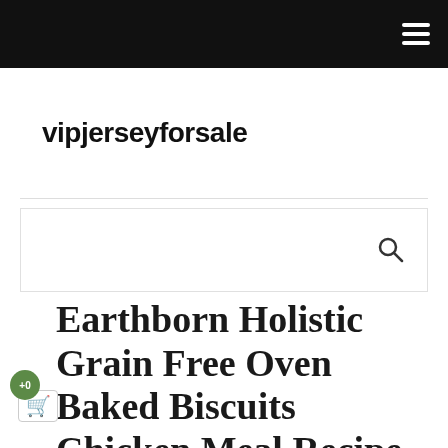vipjerseyforsale
Earthborn Holistic Grain Free Oven Baked Biscuits Chicken Meal Recipe Dog Treats